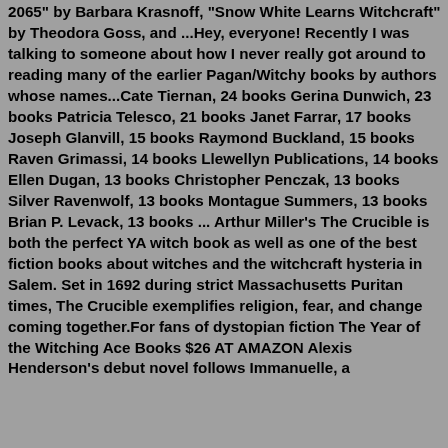2065" by Barbara Krasnoff, "Snow White Learns Witchcraft" by Theodora Goss, and ...Hey, everyone! Recently I was talking to someone about how I never really got around to reading many of the earlier Pagan/Witchy books by authors whose names...Cate Tiernan, 24 books Gerina Dunwich, 23 books Patricia Telesco, 21 books Janet Farrar, 17 books Joseph Glanvill, 15 books Raymond Buckland, 15 books Raven Grimassi, 14 books Llewellyn Publications, 14 books Ellen Dugan, 13 books Christopher Penczak, 13 books Silver Ravenwolf, 13 books Montague Summers, 13 books Brian P. Levack, 13 books ... Arthur Miller's The Crucible is both the perfect YA witch book as well as one of the best fiction books about witches and the witchcraft hysteria in Salem. Set in 1692 during strict Massachusetts Puritan times, The Crucible exemplifies religion, fear, and change coming together.For fans of dystopian fiction The Year of the Witching Ace Books $26 AT AMAZON Alexis Henderson's debut novel follows Immanuelle, a